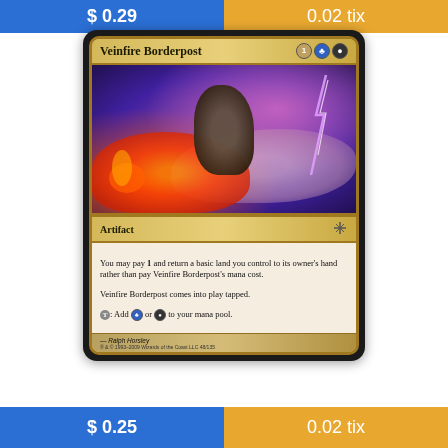$ 0.29
0.02 tix
[Figure (photo): Magic: The Gathering card named Veinfire Borderpost. Artifact card with mana cost 1, blue, black. Art shows a dark stone arch/post with fire and lightning in background. Card text: You may pay 1 and return a basic land you control to its owner's hand rather than pay Veinfire Borderpost's mana cost. Veinfire Borderpost comes into play tapped. T: Add blue or black to your mana pool. Artist: Ralph Horsley. Set number 48/135.]
$ 0.25
0.02 tix